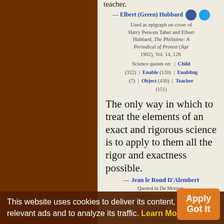teacher.
— Elbert (Green) Hubbard
Used as epigraph on cover of Harry Persons Taber and Elbert Hubbard, The Philistine: A Periodical of Protest (Apr 1902), Vol. 14, 128.
Science quotes on: | Child (322) | Enable (120) | Enabling (7) | Object (430) | Teacher (151)
The only way in which to treat the elements of an exact and rigorous science is to apply to them all the rigor and exactness possible.
— Jean le Rond D'Alembert
Quoted in De Morgan, Trigonometry and Double Algebra (1849). Title page.
Science quotes on: | Element (317) | Exact (114) | Exactness (29) | Mathematics (554) | Rigor (29) | Rigorous (50) | Teaching of Mathematics (38) | Treat (30)
This website uses cookies to deliver its content, to show relevant ads and to analyze its traffic. Learn More
Got It